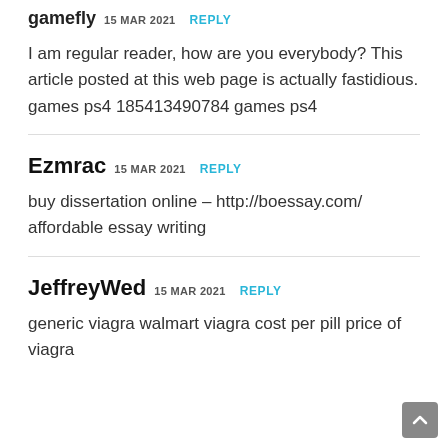gamefly 15 MAR 2021 REPLY
I am regular reader, how are you everybody? This article posted at this web page is actually fastidious. games ps4 185413490784 games ps4
Ezmrac 15 MAR 2021 REPLY
buy dissertation online – http://boessay.com/ affordable essay writing
JeffreyWed 15 MAR 2021 REPLY
generic viagra walmart viagra cost per pill price of viagra